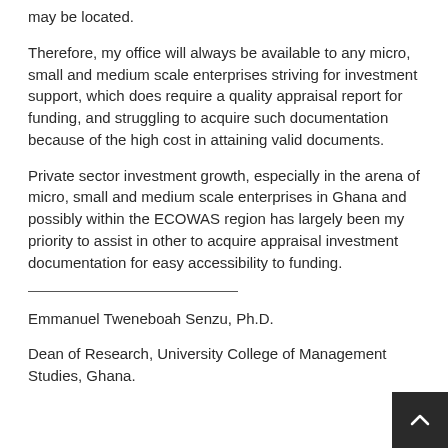may be located.
Therefore, my office will always be available to any micro, small and medium scale enterprises striving for investment support, which does require a quality appraisal report for funding, and struggling to acquire such documentation because of the high cost in attaining valid documents.
Private sector investment growth, especially in the arena of micro, small and medium scale enterprises in Ghana and possibly within the ECOWAS region has largely been my priority to assist in other to acquire appraisal investment documentation for easy accessibility to funding.
Emmanuel Tweneboah Senzu, Ph.D.
Dean of Research, University College of Management Studies, Ghana.